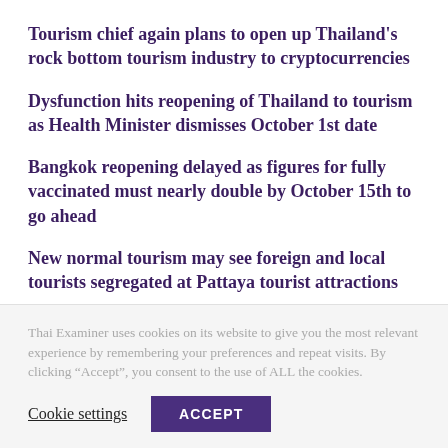Tourism chief again plans to open up Thailand's rock bottom tourism industry to cryptocurrencies
Dysfunction hits reopening of Thailand to tourism as Health Minister dismisses October 1st date
Bangkok reopening delayed as figures for fully vaccinated must nearly double by October 15th to go ahead
New normal tourism may see foreign and local tourists segregated at Pattaya tourist attractions
Only 13% will visit Thailand under the kingdom's demanding
Thai Examiner uses cookies on its website to give you the most relevant experience by remembering your preferences and repeat visits. By clicking “Accept”, you consent to the use of ALL the cookies.
Cookie settings | ACCEPT